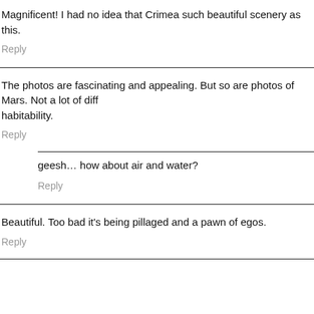Magnificent! I had no idea that Crimea such beautiful scenery as this.
Reply
The photos are fascinating and appealing. But so are photos of Mars. Not a lot of diff habitability.
Reply
geesh… how about air and water?
Reply
Beautiful. Too bad it's being pillaged and a pawn of egos.
Reply